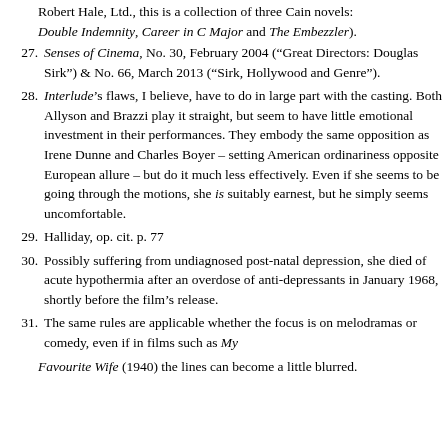(continuation) Robert Hale, Ltd., this is a collection of three Cain novels: Double Indemnity, Career in C Major and The Embezzler).
27. Senses of Cinema, No. 30, February 2004 (“Great Directors: Douglas Sirk”) & No. 66, March 2013 (“Sirk, Hollywood and Genre”).
28. Interlude’s flaws, I believe, have to do in large part with the casting. Both Allyson and Brazzi play it straight, but seem to have little emotional investment in their performances. They embody the same opposition as Irene Dunne and Charles Boyer – setting American ordinariness opposite European allure – but do it much less effectively. Even if she seems to be going through the motions, she is suitably earnest, but he simply seems uncomfortable.
29. Halliday, op. cit. p. 77
30. Possibly suffering from undiagnosed post-natal depression, she died of acute hypothermia after an overdose of anti-depressants in January 1968, shortly before the film’s release.
31. The same rules are applicable whether the focus is on melodramas or comedy, even if in films such as My Favourite Wife (1940) the lines can become a little blurred.